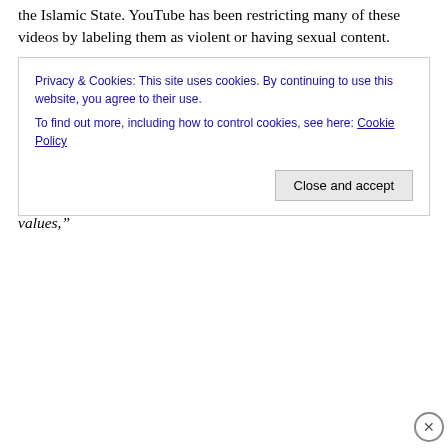the Islamic State. YouTube has been restricting many of these videos by labeling them as violent or having sexual content.
Prager filed a lawsuit and recently testified before Congress on Capitol Hill that Google violates the First Amendment by censoring conservatives. PragerU stated:
“There is no excuse for Google and YouTube censoring and restricting any PragerU videos, which are produced with the sole intent of educating people of all ages about America’s founding values,”
Privacy & Cookies: This site uses cookies. By continuing to use this website, you agree to their use.
To find out more, including how to control cookies, see here: Cookie Policy
Close and accept